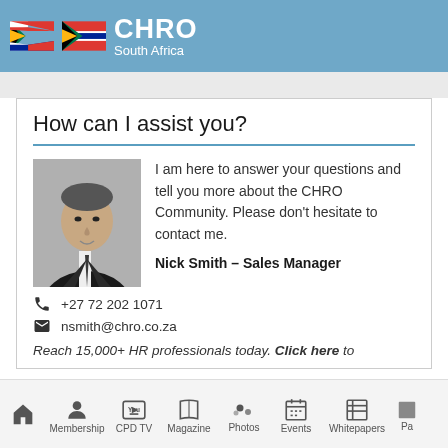CHRO South Africa
How can I assist you?
[Figure (photo): Black and white photo of Nick Smith in a suit and tie]
I am here to answer your questions and tell you more about the CHRO Community. Please don't hesitate to contact me.
Nick Smith – Sales Manager
+27 72 202 1071
nsmith@chro.co.za
Reach 15,000+ HR professionals today. Click here to
Membership  CPD TV  Magazine  Photos  Events  Whitepapers  Pa